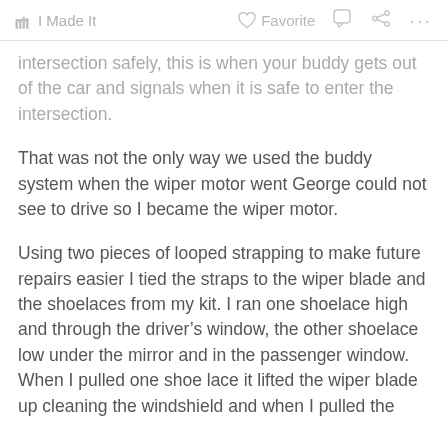I Made It   Favorite   [comment] [share] ...
intersection safely, this is when your buddy gets out of the car and signals when it is safe to enter the intersection.
That was not the only way we used the buddy system when the wiper motor went George could not see to drive so I became the wiper motor.
Using two pieces of looped strapping to make future repairs easier I tied the straps to the wiper blade and the shoelaces from my kit. I ran one shoelace high and through the driver’s window, the other shoelace low under the mirror and in the passenger window. When I pulled one shoe lace it lifted the wiper blade up cleaning the windshield and when I pulled the